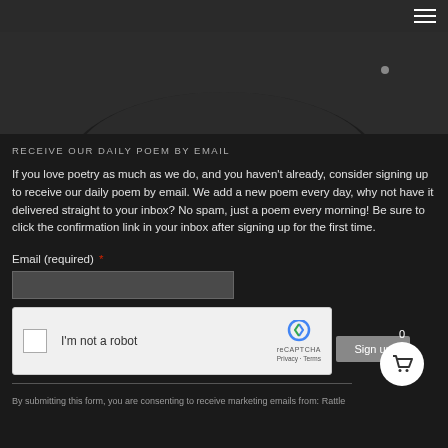[Figure (photo): Dark hero image showing a curved/circular object against a dark background]
RECEIVE OUR DAILY POEM BY EMAIL
If you love poetry as much as we do, and you haven't already, consider signing up to receive our daily poem by email. We add a new poem every day, why not have it delivered straight to your inbox? No spam, just a poem every morning! Be sure to click the confirmation link in your inbox after signing up for the first time.
Email (required) *
[Figure (screenshot): reCAPTCHA widget with 'I'm not a robot' checkbox, reCAPTCHA logo, Privacy and Terms links]
Sign up
By submitting this form, you are consenting to receive marketing emails from: Rattle